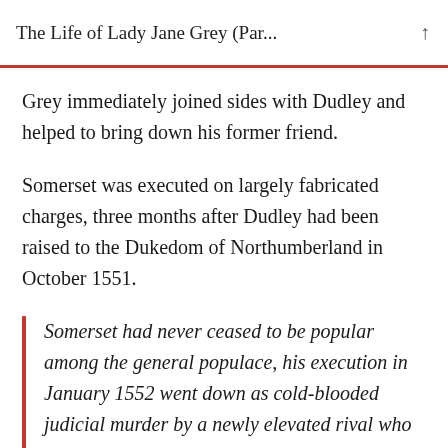The Life of Lady Jane Grey (Par...
Grey immediately joined sides with Dudley and helped to bring down his former friend.
Somerset was executed on largely fabricated charges, three months after Dudley had been raised to the Dukedom of Northumberland in October 1551.
Somerset had never ceased to be popular among the general populace, his execution in January 1552 went down as cold-blooded judicial murder by a newly elevated rival who was determined to